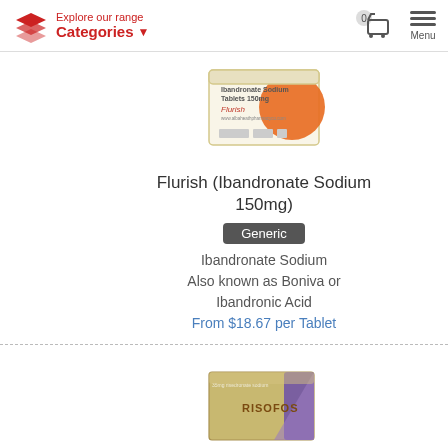Explore our range Categories
[Figure (photo): Product box of Flurish (Ibandronate Sodium Tablets 150mg) with orange circle design]
Flurish (Ibandronate Sodium 150mg)
Generic
Ibandronate Sodium
Also known as Boniva or Ibandronic Acid
From $18.67 per Tablet
[Figure (photo): Product box of Risofos 35mg (Risedronate) in gold and purple packaging]
Risofos 35mg (Risedronate)
Generic
Risedronate Sodium
Also known as Actonel
From $6.40 per Tablet